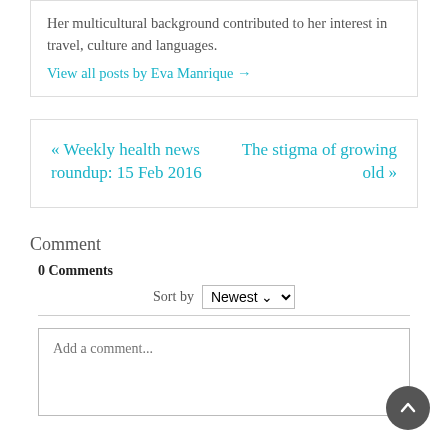Her multicultural background contributed to her interest in travel, culture and languages.
View all posts by Eva Manrique →
« Weekly health news roundup: 15 Feb 2016
The stigma of growing old »
Comment
0 Comments
Sort by Newest
Add a comment...